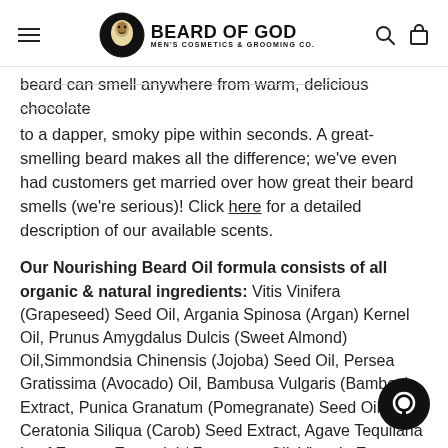BEARD OF GOD MEN'S COSMETICS & GROOMING CO.
beard can smell anywhere from warm, delicious chocolate to a dapper, smoky pipe within seconds. A great-smelling beard makes all the difference; we've even had customers get married over how great their beard smells (we're serious)! Click here for a detailed description of our available scents.
Our Nourishing Beard Oil formula consists of all organic & natural ingredients: Vitis Vinifera (Grapeseed) Seed Oil, Argania Spinosa (Argan) Kernel Oil, Prunus Amygdalus Dulcis (Sweet Almond) Oil, Simmondsia Chinensis (Jojoba) Seed Oil, Persea Gratissima (Avocado) Oil, Bambusa Vulgaris (Bamboo) Extract, Punica Granatum (Pomegranate) Seed Oil, Ceratonia Siliqua (Carob) Seed Extract, Agave Tequilana Leaf Extract, Essential / Fragrance Oil, Vitamin E